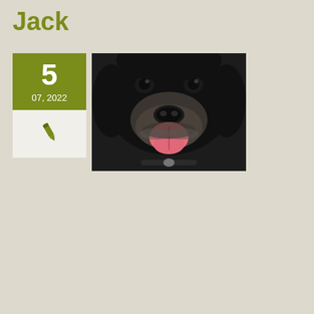Jack
[Figure (photo): Close-up photo of a black curly-haired dog (cocker spaniel mix) with tongue out, panting, looking at the camera.]
Charlie
[Figure (photo): Partial photo of a dog's head from above, showing ears and top of head against a dark background.]